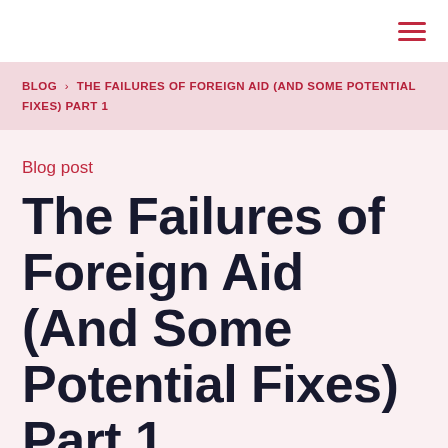≡
BLOG › THE FAILURES OF FOREIGN AID (AND SOME POTENTIAL FIXES) PART 1
Blog post
The Failures of Foreign Aid (And Some Potential Fixes) Part 1